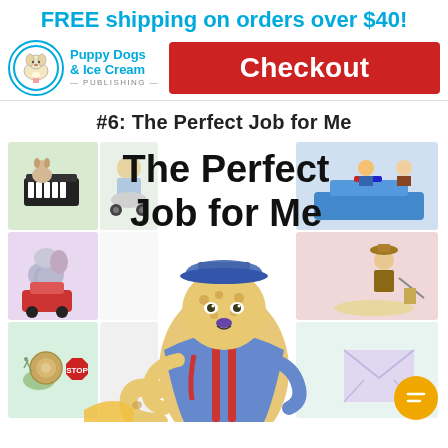FREE shipping on orders over $40!
[Figure (logo): Puppy Dogs & Ice Cream Publishing logo — circle with dog illustration, blue text]
Checkout
#6: The Perfect Job for Me
[Figure (illustration): Book cover for 'The Perfect Job for Me' showing a cheetah dressed as a mail carrier, surrounded by illustrated grid panels depicting various jobs including piano playing, auto mechanic, snail scene, police officer, archaeologist]